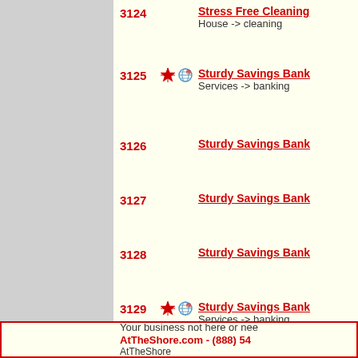3124  Stress Free Cleaning  House -> cleaning
3125  Sturdy Savings Bank  Services -> banking
3126  Sturdy Savings Bank
3127  Sturdy Savings Bank
3128  Sturdy Savings Bank
3129  Sturdy Savings Bank  Services -> banking
Your business not here or nee AtTheShore.com - (888) 54 AtTheShore